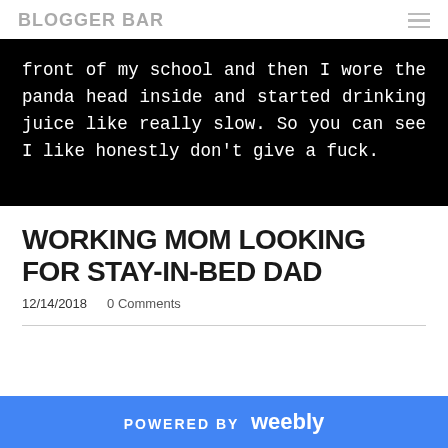BLOGGER BAR
front of my school and then I wore the panda head inside and started drinking juice like really slow. So you can see I like honestly don't give a fuck.
WORKING MOM LOOKING FOR STAY-IN-BED DAD
12/14/2018   0 Comments
POWERED BY weebly